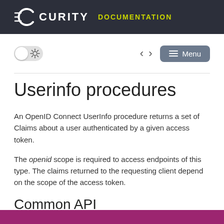CURITY DOCUMENTATION
[Figure (screenshot): Navigation toolbar with dark/light mode toggle switch, back/forward arrows, and Menu button]
Userinfo procedures
An OpenID Connect UserInfo procedure returns a set of Claims about a user authenticated by a given access token.
The openid scope is required to access endpoints of this type. The claims returned to the requesting client depend on the scope of the access token.
Common API